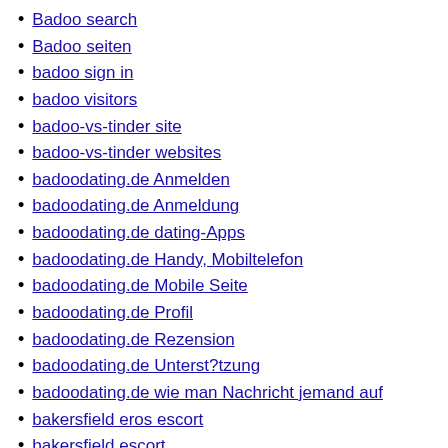Badoo search
Badoo seiten
badoo sign in
badoo visitors
badoo-vs-tinder site
badoo-vs-tinder websites
badoodating.de Anmelden
badoodating.de Anmeldung
badoodating.de dating-Apps
badoodating.de Handy, Mobiltelefon
badoodating.de Mobile Seite
badoodating.de Profil
badoodating.de Rezension
badoodating.de Unterst?tzung
badoodating.de wie man Nachricht jemand auf
bakersfield eros escort
bakersfield escort
bakersfield escort index
bakersfield escort service
bakersfield escort sites
bali-dating review
baltic-dating review
baltimore eros escort
baltimore escort